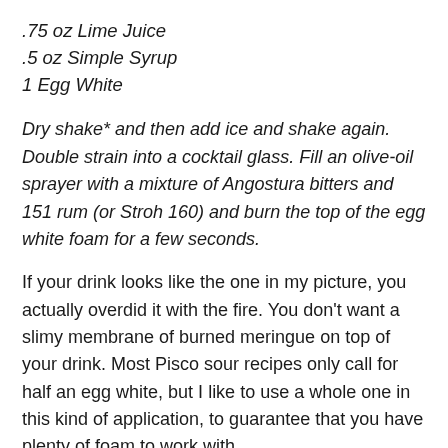.75 oz Lime Juice
.5 oz Simple Syrup
1 Egg White
Dry shake* and then add ice and shake again. Double strain into a cocktail glass. Fill an olive-oil sprayer with a mixture of Angostura bitters and 151 rum (or Stroh 160) and burn the top of the egg white foam for a few seconds.
If your drink looks like the one in my picture, you actually overdid it with the fire. You don't want a slimy membrane of burned meringue on top of your drink. Most Pisco sour recipes only call for half an egg white, but I like to use a whole one in this kind of application, to guarantee that you have plenty of foam to work with.
The traditional garnish for a Pisco sour is freshly-grated